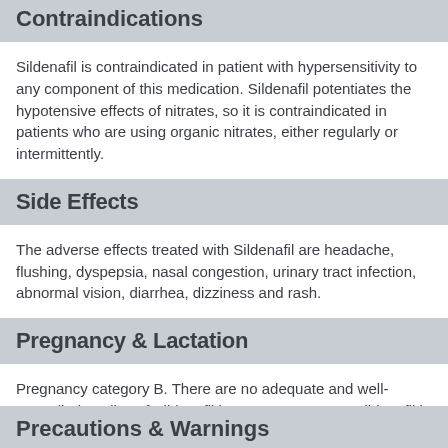Contraindications
Sildenafil is contraindicated in patient with hypersensitivity to any component of this medication. Sildenafil potentiates the hypotensive effects of nitrates, so it is contraindicated in patients who are using organic nitrates, either regularly or intermittently.
Side Effects
The adverse effects treated with Sildenafil are headache, flushing, dyspepsia, nasal congestion, urinary tract infection, abnormal vision, diarrhea, dizziness and rash.
Pregnancy & Lactation
Pregnancy category B. There are no adequate and well-controlled studies of Sildenafil in pregnant women. Sildenafil is not indicated for use by women. In animal study shows that Sildenafil has no evidence of teratogenicity or embryotoxicity.
Precautions & Warnings